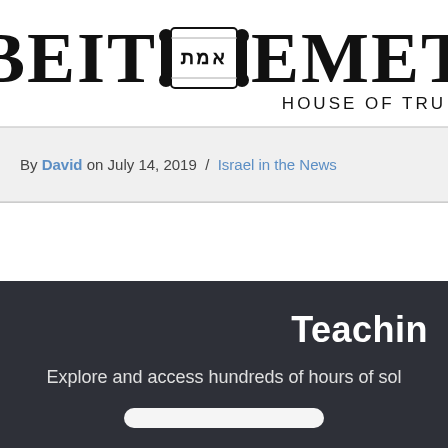[Figure (logo): Beit Emet (House of Truth) logo with Torah scroll graphic and Hebrew text, partially cropped on right side]
By David on July 14, 2019 / Israel in the News
Teachin
Explore and access hundreds of hours of sol